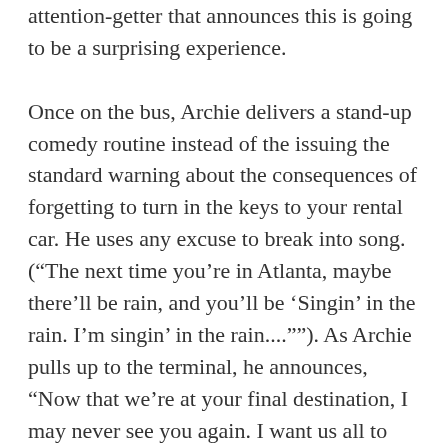attention-getter that announces this is going to be a surprising experience.

Once on the bus, Archie delivers a stand-up comedy routine instead of the issuing the standard warning about the consequences of forgetting to turn in the keys to your rental car. He uses any excuse to break into song. (“The next time you’re in Atlanta, maybe there’ll be rain, and you’ll be ‘Singin’ in the rain. I’m singin’ in the rain....””). As Archie pulls up to the terminal, he announces, “Now that we’re at your final destination, I may never see you again. I want us all to say together, ‘I love Hertz.’” He convinces a crowd of strangers to holler, “I love Hertz” before they get off his bus! As customers exit applauding, they realize they have integrity and are respected for superior...